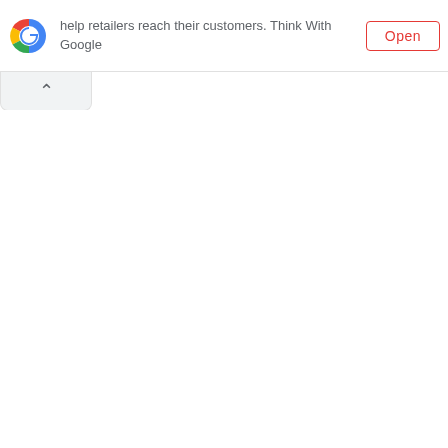[Figure (logo): Google 'G' multicolor logo icon]
help retailers reach their customers. Think With Google
Open
[Figure (other): Collapse/chevron up button tab with upward caret symbol]